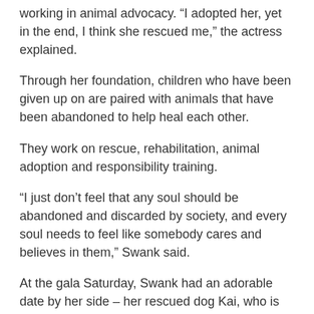working in animal advocacy. “I adopted her, yet in the end, I think she rescued me,” the actress explained.
Through her foundation, children who have been given up on are paired with animals that have been abandoned to help heal each other.
They work on rescue, rehabilitation, animal adoption and responsibility training.
“I just don’t feel that any soul should be abandoned and discarded by society, and every soul needs to feel like somebody cares and believes in them,” Swank said.
At the gala Saturday, Swank had an adorable date by her side – her rescued dog Kai, who is carrying on Karoo’s legacy.
The black-tie event featured live and silent auctions, and a portion of the proceeds benefited the Hilaroo Foundation.